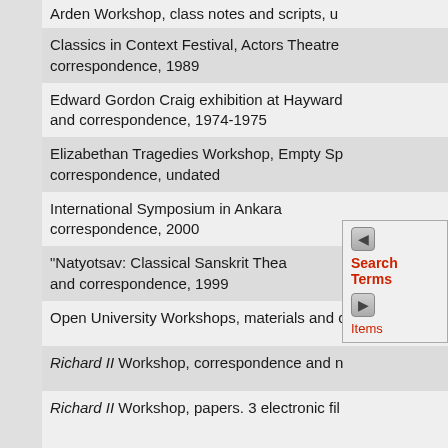Arden Workshop, class notes and scripts, u
Classics in Context Festival, Actors Theatre correspondence, 1989
Edward Gordon Craig exhibition at Hayward and correspondence, 1974-1975
Elizabethan Tragedies Workshop, Empty Sp correspondence, undated
International Symposium in Ankara correspondence, 2000
"Natyotsav: Classical Sanskrit Thea and correspondence, 1999
Open University Workshops, materials and c
Richard II Workshop, correspondence and n
Richard II Workshop, papers. 3 electronic fil